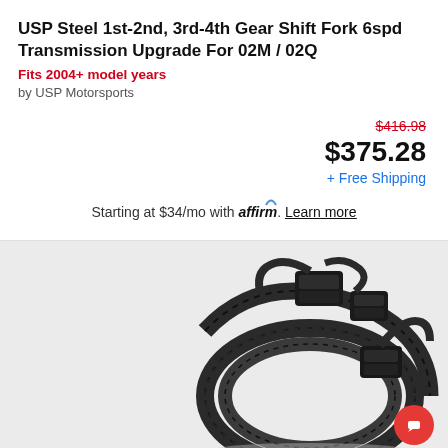USP Steel 1st-2nd, 3rd-4th Gear Shift Fork 6spd Transmission Upgrade For 02M / 02Q
Fits 2004+ model years
by USP Motorsports
$416.98 $375.28 + Free Shipping
Starting at $34/mo with affirm. Learn more
[Figure (photo): Photo of a black automotive wiring harness with corrugated flexible conduit and multiple connectors]